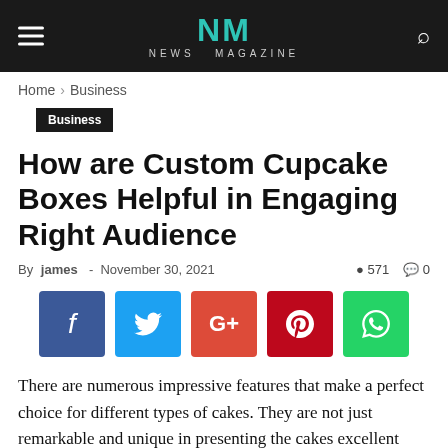NM NEWS MAGAZINE
Home › Business
Business
How are Custom Cupcake Boxes Helpful in Engaging Right Audience
By james - November 30, 2021   571   0
[Figure (infographic): Social share buttons: Facebook (blue), Twitter (light blue), Google+ (orange-red), Pinterest (red), WhatsApp (green)]
There are numerous impressive features that make a perfect choice for different types of cakes. They are not just remarkable and unique in presenting the cakes excellent packing but also preserve their freshness and lusciousness. These select